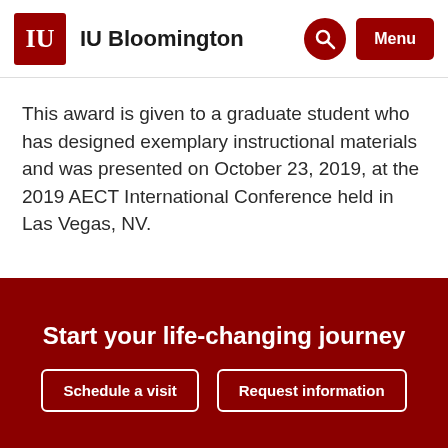IU Bloomington
This award is given to a graduate student who has designed exemplary instructional materials and was presented on October 23, 2019, at the 2019 AECT International Conference held in Las Vegas, NV.
Start your life-changing journey
Schedule a visit
Request information
ABOUT   ACADEMICS